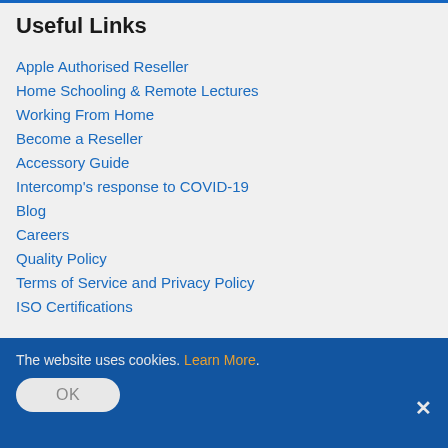Useful Links
Apple Authorised Reseller
Home Schooling & Remote Lectures
Working From Home
Become a Reseller
Accessory Guide
Intercomp's response to COVID-19
Blog
Careers
Quality Policy
Terms of Service and Privacy Policy
ISO Certifications
The website uses cookies. Learn More.